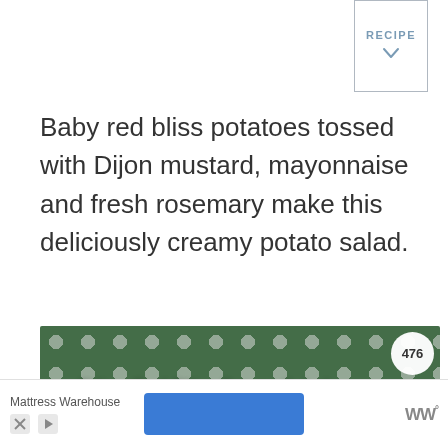[Figure (other): RECIPE button with chevron/down arrow, bordered box in top right]
Baby red bliss potatoes tossed with Dijon mustard, mayonnaise and fresh rosemary make this deliciously creamy potato salad.
[Figure (photo): Photo of Dijon Red Bliss Potato Salad — potatoes in creamy dressing on a green polka-dot background. Overlaid text reads 'Dijon Red Bliss Potato Salad' with a heart icon, a share badge, and a count badge showing 476.]
[Figure (other): Advertisement bar at bottom: Mattress Warehouse brand name, X and arrow ad icons, a blue button, and a logo on the right showing 'WW°']